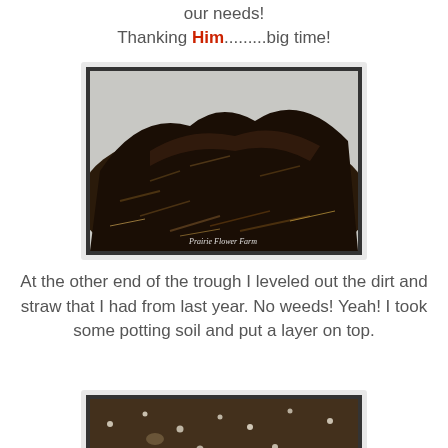our needs!
Thanking Him.........big time!
[Figure (photo): A pile of dark compost/dirt mixed with straw and organic material, photographed close up. Watermark reads 'Prairie Flower Farm'.]
At the other end of the trough I leveled out the dirt and straw that I had from last year. No weeds! Yeah! I took some potting soil and put a layer on top.
[Figure (photo): Close-up photo of dark potting soil with small white particles (perlite) visible throughout.]